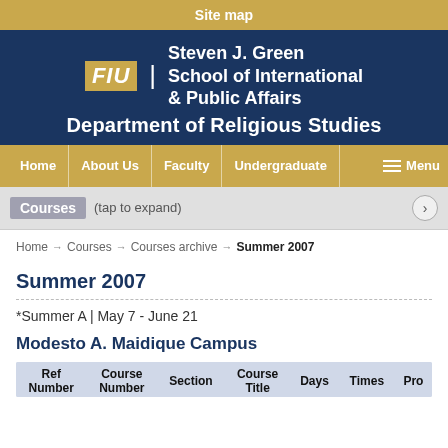Site map
FIU | Steven J. Green School of International & Public Affairs Department of Religious Studies
Home | About Us | Faculty | Undergraduate | Menu
Courses (tap to expand)
Home → Courses → Courses archive → Summer 2007
Summer 2007
*Summer A | May 7 - June 21
Modesto A. Maidique Campus
| Ref Number | Course Number | Section | Course Title | Days | Times | Pro |
| --- | --- | --- | --- | --- | --- | --- |